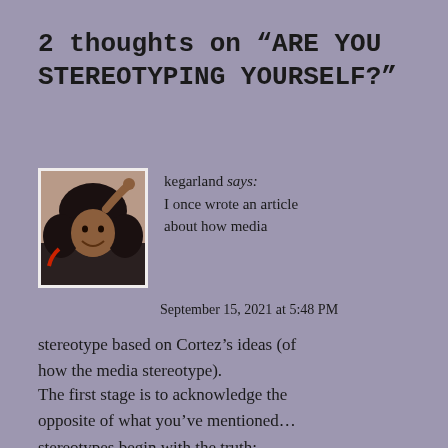2 thoughts on “ARE YOU STEREOTYPING YOURSELF?”
kegarland says:
I once wrote an article about how media
[Figure (photo): Profile photo of a person wearing a dark hood/hijab, smiling, with hand raised to forehead]
September 15, 2021 at 5:48 PM
stereotype based on Cortez’s ideas (of how the media stereotype).
The first stage is to acknowledge the opposite of what you’ve mentioned… stereotypes begin with the truth; however, over time they grow into